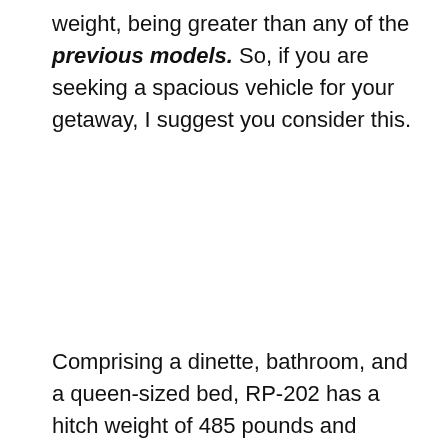weight, being greater than any of the previous models. So, if you are seeking a spacious vehicle for your getaway, I suggest you consider this.
Comprising a dinette, bathroom, and a queen-sized bed, RP-202 has a hitch weight of 485 pounds and Cargo Capacity of 1911 pounds. Along with the standing height of 11 feet, the Unloaded Vehicle Weight of this trailer